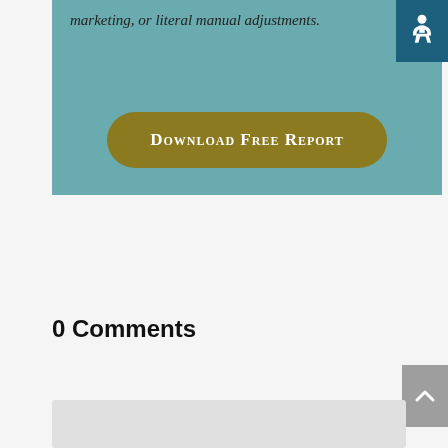marketing, or literal manual adjustments.
[Figure (other): Download Free Report button - gold/olive colored rounded rectangle button with white small-caps text]
[Figure (other): Accessibility icon - white wheelchair symbol on dark teal background in top right corner]
0 Comments
[Figure (other): Back to top button - gray rectangle with white up-arrow caret]
[Figure (other): Comment form area - light gray rectangle]